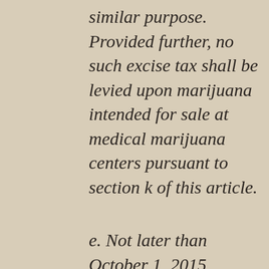similar purpose. Provided further, no such excise tax shall be levied upon marijuana intended for sale at medical marijuana centers pursuant to section k of this article.
e. Not later than October 1, 2015,